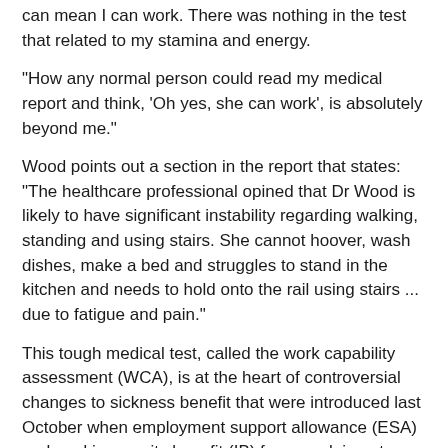can mean I can work. There was nothing in the test that related to my stamina and energy.
"How any normal person could read my medical report and think, 'Oh yes, she can work', is absolutely beyond me."
Wood points out a section in the report that states: "The healthcare professional opined that Dr Wood is likely to have significant instability regarding walking, standing and using stairs. She cannot hoover, wash dishes, make a bed and struggles to stand in the kitchen and needs to hold onto the rail using stairs ... due to fatigue and pain."
This tough medical test, called the work capability assessment (WCA), is at the heart of controversial changes to sickness benefit that were introduced last October when employment support allowance (ESA) replaced incapacity benefit (IB) for new claimants.
The test contains a series of questions, called "descriptors", that relate to physical and mental functions, and from which claimants score points. The test fails ..."